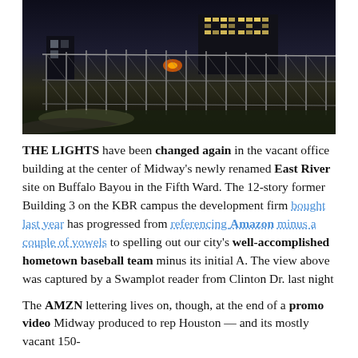[Figure (photo): Night-time photo of a chain-link fence with grass in foreground and an illuminated building with lights spelling letters visible in the background.]
THE LIGHTS have been changed again in the vacant office building at the center of Midway's newly renamed East River site on Buffalo Bayou in the Fifth Ward. The 12-story former Building 3 on the KBR campus the development firm bought last year has progressed from referencing Amazon minus a couple of vowels to spelling out our city's well-accomplished hometown baseball team minus its initial A. The view above was captured by a Swamplot reader from Clinton Dr. last night
The AMZN lettering lives on, though, at the end of a promo video Midway produced to rep Houston — and its mostly vacant 150-